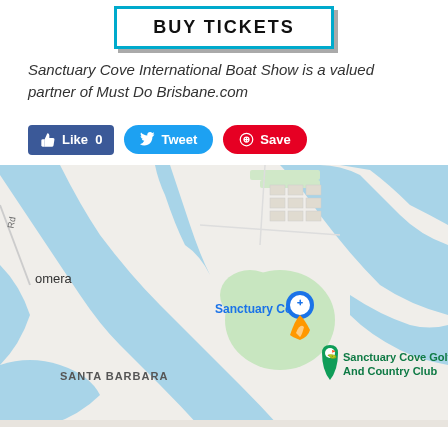[Figure (other): BUY TICKETS button with cyan border and drop shadow]
Sanctuary Cove International Boat Show is a valued partner of Must Do Brisbane.com
[Figure (infographic): Social media buttons: Facebook Like 0, Twitter Tweet, Pinterest Save]
[Figure (map): Google Maps showing Sanctuary Cove area with waterways, Sanctuary Cove label with pin, Sanctuary Cove Golf And Country Club marker, Santa Barbara area label]